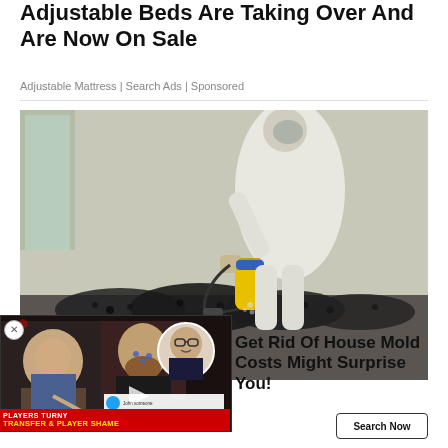Adjustable Beds Are Taking Over And Are Now On Sale
Adjustable Mattress | Search Ads | Sponsored
[Figure (photo): Person in white hazmat suit spraying mold on a wall at the base using a yellow sprayer. Large dark mold growth visible along the base of a white wall.]
[Figure (screenshot): Overlay video player showing two men discussing soccer/football transfers. Text overlay at bottom reads PLAYERS TURNY TRANSFER & PLAYER SHAME in red banner. A circular inset shows a man in glasses.]
Get Rid Of House Mold Costs Might Surprise You!
Mold Removal | Search Ads | Sponsored
Search Now